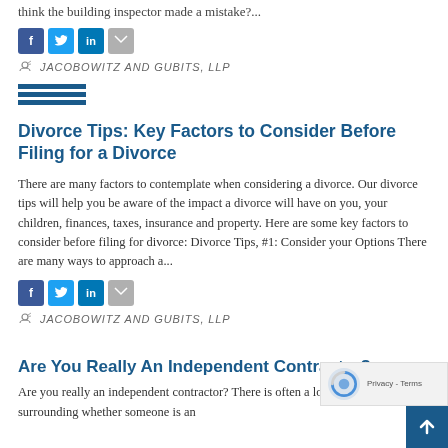think the building inspector made a mistake?...
[Figure (other): Social sharing icons: Facebook, Twitter, LinkedIn, Email]
JACOBOWITZ AND GUBITS, LLP
[Figure (other): Three horizontal lines decorative divider in dark blue]
Divorce Tips: Key Factors to Consider Before Filing for a Divorce
There are many factors to contemplate when considering a divorce. Our divorce tips will help you be aware of the impact a divorce will have on you, your children, finances, taxes, insurance and property. Here are some key factors to consider before filing for divorce: Divorce Tips, #1: Consider your Options There are many ways to approach a...
[Figure (other): Social sharing icons: Facebook, Twitter, LinkedIn, Email]
JACOBOWITZ AND GUBITS, LLP
Are You Really An Independent Contractor?
Are you really an independent contractor? There is often a lot of confusion surrounding whether someone is an